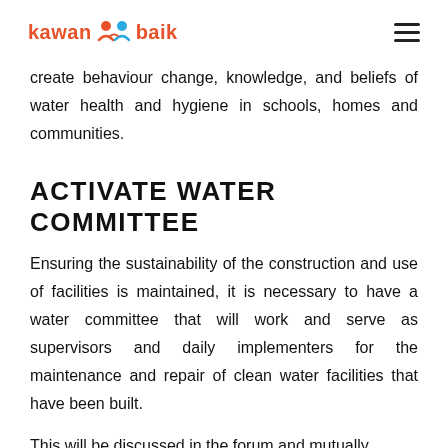kawan baik
create behaviour change, knowledge, and beliefs of water health and hygiene in schools, homes and communities.
ACTIVATE WATER COMMITTEE
Ensuring the sustainability of the construction and use of facilities is maintained, it is necessary to have a water committee that will work and serve as supervisors and daily implementers for the maintenance and repair of clean water facilities that have been built.
This will be discussed in the forum and mutually